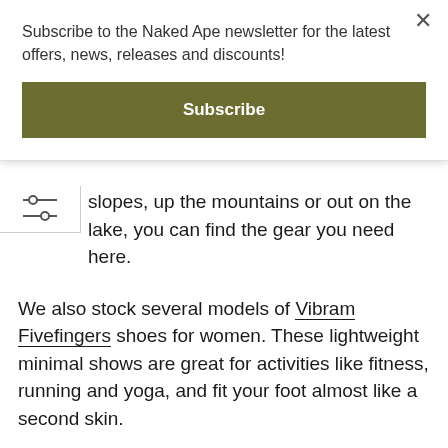Subscribe to the Naked Ape newsletter for the latest offers, news, releases and discounts!
[Figure (other): Subscribe button — dark olive/khaki green rectangular button with white bold text 'Subscribe']
[Figure (other): Filter/settings icon (two horizontal slider lines with circles)]
slopes, up the mountains or out on the lake, you can find the gear you need here.
We also stock several models of Vibram Fivefingers shoes for women. These lightweight minimal shows are great for activities like fitness, running and yoga, and fit your foot almost like a second skin.
If you would like any further information on our products or our delivery options, please contact us.